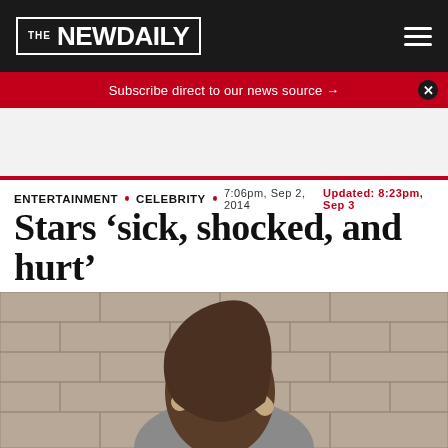THE NEWDAILY
Subscribe direct to our news source →
ENTERTAINMENT • CELEBRITY • 7:06pm, Sep 2, 2014  Updated: 8:23pm, Sep 3
Stars 'sick, shocked, and hurt'
[Figure (photo): A distressed woman covering her face with both hands, sitting against a brick wall, wearing a grey t-shirt, in a desaturated/sepia toned photo.]